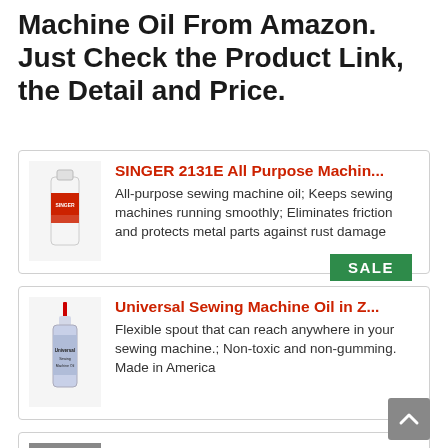Machine Oil From Amazon. Just Check the Product Link, the Detail and Price.
[Figure (other): Green SALE badge/banner]
[Figure (photo): SINGER 2131E All Purpose Machine Oil bottle - white bottle with red label]
SINGER 2131E All Purpose Machin...
All-purpose sewing machine oil; Keeps sewing machines running smoothly; Eliminates friction and protects metal parts against rust damage
[Figure (photo): Universal Sewing Machine Oil in Z... - tall blue/white bottle with red cap and long spout]
Universal Sewing Machine Oil in Z...
Flexible spout that can reach anywhere in your sewing machine.; Non-toxic and non-gumming. Made in America
[Figure (photo): Sewing Machine Oil ~ Lily White (... - large clear/white gallon jug]
Sewing Machine Oil ~ Lily White (..…
Sewing Machine Oil ~ Lily White ~ 1 U.S.